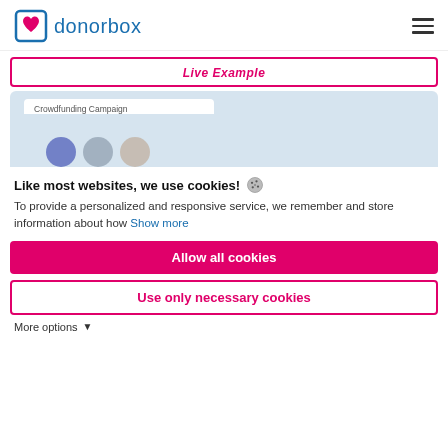donorbox
[Figure (screenshot): Donorbox website screenshot showing a 'Live Example' button and a crowdfunding campaign preview with avatars]
Like most websites, we use cookies!
To provide a personalized and responsive service, we remember and store information about how  Show more
Allow all cookies
Use only necessary cookies
More options